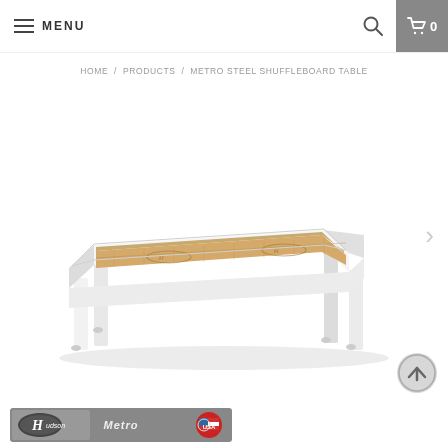MENU
HOME / PRODUCTS / METRO STEEL SHUFFLEBOARD TABLE
[Figure (photo): Metro Steel Shuffleboard Table with white steel frame and wood playing surface, shown at a three-quarter angle against a white background]
[Figure (logo): Hudson logo bar with Hudson brand logo, Metro product name, and USA flag badge on grey background]